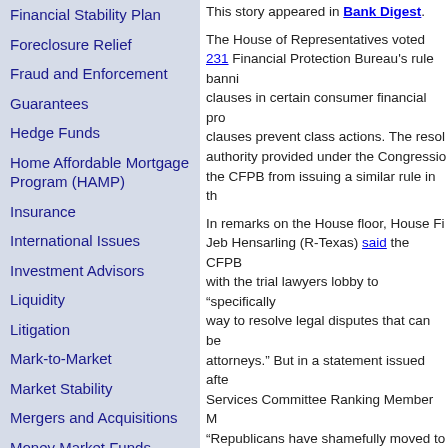Financial Stability Plan
Foreclosure Relief
Fraud and Enforcement
Guarantees
Hedge Funds
Home Affordable Mortgage Program (HAMP)
Insurance
International Issues
Investment Advisors
Liquidity
Litigation
Mark-to-Market
Market Stability
Mergers and Acquisitions
Money Market Funds
Mortgage Modifications
Mutual Funds
Nationalization
Pension and Retirement Plans
This story appeared in Bank Digest.
The House of Representatives voted 231... Financial Protection Bureau's rule banning... clauses in certain consumer financial pro... clauses prevent class actions. The resol... authority provided under the Congressio... the CFPB from issuing a similar rule in th...
In remarks on the House floor, House Fi... Jeb Hensarling (R-Texas) said the CFPB... with the trial lawyers lobby to "specifically... way to resolve legal disputes that can be... attorneys." But in a statement issued afte... Services Committee Ranking Member M... "Republicans have shamefully moved to... work, in a move that ultimately enables fi... when they commit wrongdoing, with less...
Posted at 06:22 PM in Arbitration, Consumer Fin... Representatives | Permalink
JULY 24, 2017
Volcker Rule enforcement h... qualifying foreign excluded...
This story appeared in Bank Digest.
Five federal financial regulatory agencies... action under the Volcker Rule for qualifyi... are up while they review Volcker Rul...